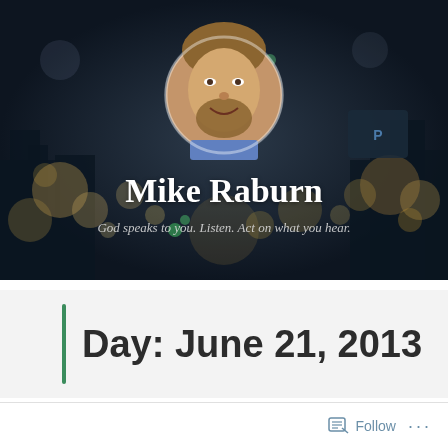[Figure (photo): Blog header banner with blurred city lights bokeh background and circular portrait photo of Mike Raburn (middle-aged man with beard, smiling, wearing blue shirt)]
Mike Raburn
God speaks to you. Listen. Act on what you hear.
Day: June 21, 2013
Follow ...